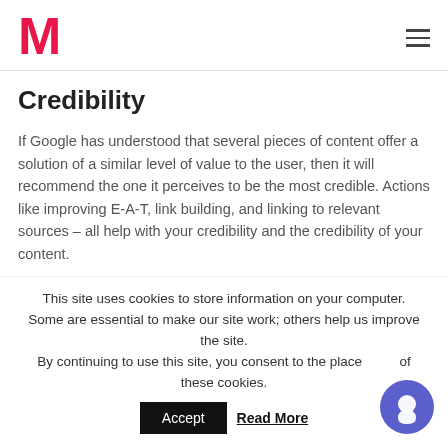M
Credibility
If Google has understood that several pieces of content offer a solution of a similar level of value to the user, then it will recommend the one it perceives to be the most credible. Actions like improving E-A-T, link building, and linking to relevant sources – all help with your credibility and the credibility of your content.
This site uses cookies to store information on your computer. Some are essential to make our site work; others help us improve the site. By continuing to use this site, you consent to the place of these cookies.
Accept
Read More